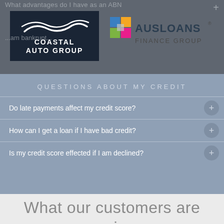[Figure (logo): Coastal Auto Group logo - dark navy background with wave graphic and text]
[Figure (logo): Ausloans Finance Group logo - colorful grid squares with bold text]
What advantages do I have as an ABN
...am bankrupt...
QUESTIONS ABOUT MY CREDIT
Do late payments affect my credit score?
How can I get a loan if I have bad credit?
Is my credit score effected if I am declined?
What our customers are saying